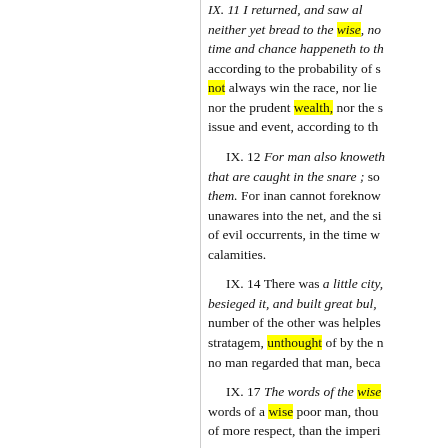IX. 11 I returned, and saw … neither yet bread to the wise, no… time and chance happeneth to th… according to the probability of s… not always win the race, nor lie… nor the prudent wealth, nor the s… issue and event, according to th…
IX. 12 For man also knoweth… that are caught in the snare ; so… them. For inan cannot foreknow… unawares into the net, and the si… of evil occurrents, in the time w… calamities.
IX. 14 There was a little city,… besieged it, and built great bul,… number of the other was helples… stratagem, unthought of by the n… no man regarded that man, beca…
IX. 17 The words of the wise… words of a wise poor man, thou… of more respect, than the imperi…
X. 1 Dead flies cause the oin…